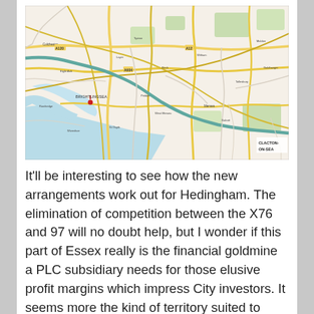[Figure (map): A road map showing part of Essex, England, including Brightlingsea and Clacton-on-Sea visible in the lower right corner. The map shows roads, waterways, and settlements with typical Ordnance Survey styling — yellow A-roads, green areas, blue water features.]
It'll be interesting to see how the new arrangements work out for Hedingham. The elimination of competition between the X76 and 97 will no doubt help, but I wonder if this part of Essex really is the financial goldmine a PLC subsidiary needs for those elusive profit margins which impress City investors. It seems more the kind of territory suited to locally based independents such as